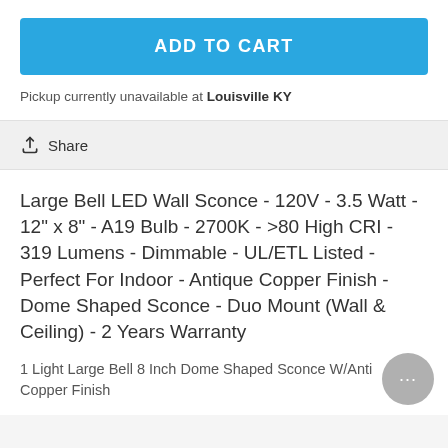ADD TO CART
Pickup currently unavailable at Louisville KY
Share
Large Bell LED Wall Sconce - 120V - 3.5 Watt - 12" x 8" - A19 Bulb - 2700K - >80 High CRI - 319 Lumens - Dimmable - UL/ETL Listed - Perfect For Indoor - Antique Copper Finish - Dome Shaped Sconce - Duo Mount (Wall & Ceiling) - 2 Years Warranty
1 Light Large Bell 8 Inch Dome Shaped Sconce W/Antique Copper Finish